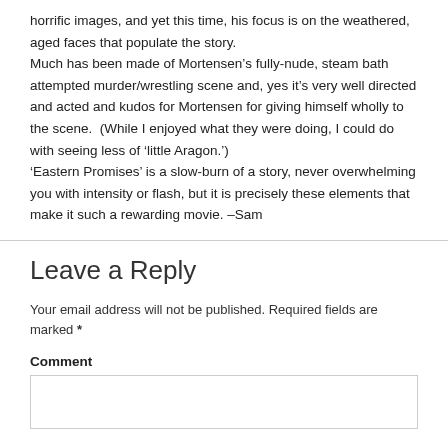horrific images, and yet this time, his focus is on the weathered, aged faces that populate the story.
Much has been made of Mortensen’s fully-nude, steam bath attempted murder/wrestling scene and, yes it’s very well directed and acted and kudos for Mortensen for giving himself wholly to the scene. (While I enjoyed what they were doing, I could do with seeing less of ‘little Aragon.’)
‘Eastern Promises’ is a slow-burn of a story, never overwhelming you with intensity or flash, but it is precisely these elements that make it such a rewarding movie. –Sam
Leave a Reply
Your email address will not be published. Required fields are marked *
Comment